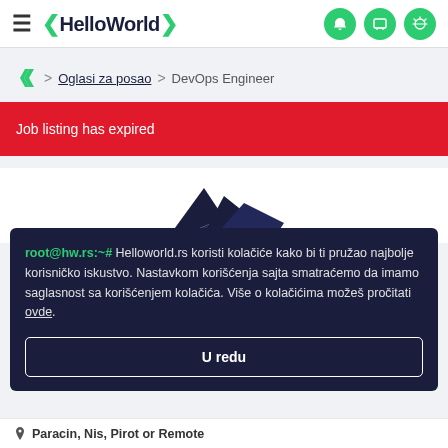≡ <HelloWorld> [icons]
⟨/⟩ > Oglasi za posao > DevOps Engineer
Job listing has expired
[Figure (logo): Partial dark blue angular logo/eagle shape visible above cookie consent popup]
root@hw.rs:~# Helloworld.rs koristi kolačiće kako bi ti pružao najbolje korisničko iskustvo. Nastavkom korišćenja sajta smatraćemo da imamo saglasnost sa korišćenjem kolačića. Više o kolačićima možeš pročitati ovde.
U redu
Paracin, Nis, Pirot or Remote